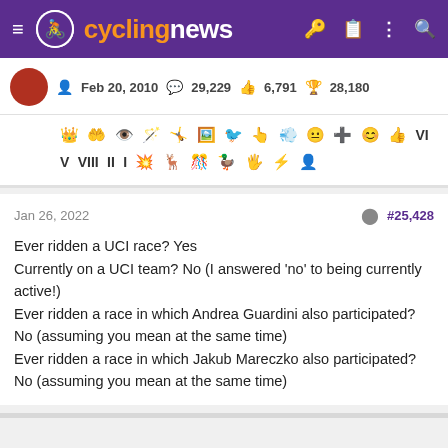cyclingnews
Feb 20, 2010   29,229   6,791   28,180
[Figure (infographic): Row of achievement/badge emoji icons: crown, heart with wings, eye, wand, runner, portrait, bird/wings, hand point, flame/smoke, smiley, cross box, smiley, thumbs up, VI, V, VIII, II, I, explosion, deer, confetti, duck, hand, lightning, person]
Jan 26, 2022	#25,428
Ever ridden a UCI race? Yes
Currently on a UCI team? No (I answered 'no' to being currently active!)
Ever ridden a race in which Andrea Guardini also participated? No (assuming you mean at the same time)
Ever ridden a race in which Jakub Mareczko also participated? No (assuming you mean at the same time)